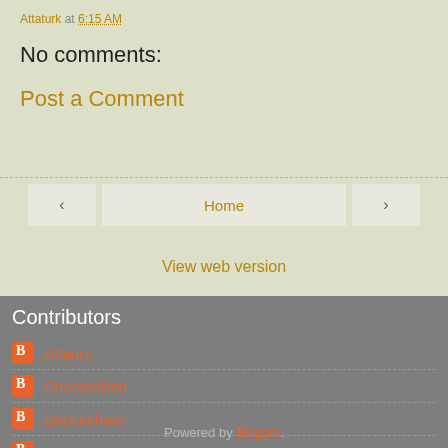Attaturk at 6:15 AM
No comments:
Post a Comment
Home
View web version
Contributors
Attaurk
Champollion
DeDurkheim
res ipsa loquitur
Powered by Blogger.